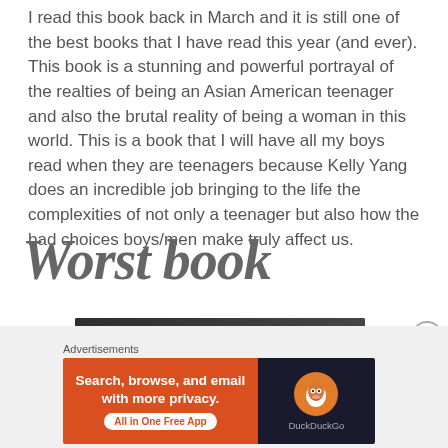I read this book back in March and it is still one of the best books that I have read this year (and ever). This book is a stunning and powerful portrayal of the realties of being an Asian American teenager and also the brutal reality of being a woman in this world. This is a book that I will have all my boys read when they are teenagers because Kelly Yang does an incredible job bringing to the life the complexities of not only a teenager but also how the bad choices boys/men make truly affect us.
Worst book
[Figure (screenshot): Partial screenshot of a book page with dark background and white text partially visible]
[Figure (screenshot): DuckDuckGo advertisement banner: orange left side with text 'Search, browse, and email with more privacy. All in One Free App' and dark right side with DuckDuckGo duck logo]